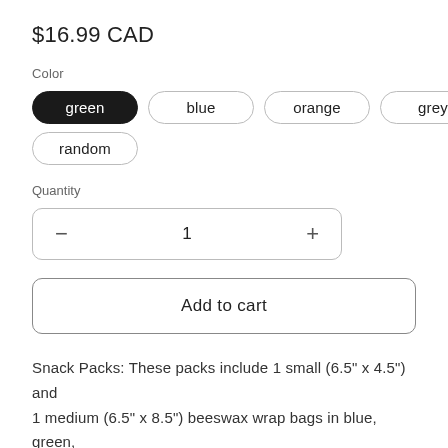$16.99 CAD
Color
green | blue | orange | grey | random
Quantity
- 1 +
Add to cart
Snack Packs: These packs include 1 small (6.5" x 4.5") and 1 medium (6.5" x 8.5") beeswax wrap bags in blue, green, orange, grey or a random colour selection.
If you like these, you will LOVE the large s...